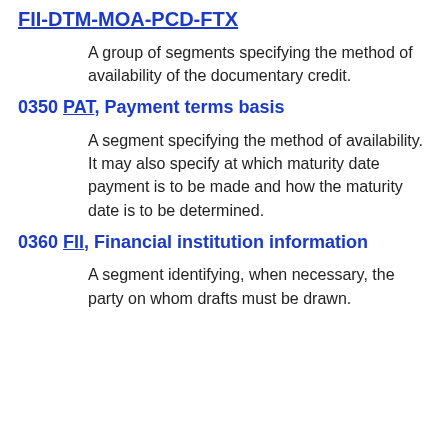FII-DTM-MOA-PCD-FTX
A group of segments specifying the method of availability of the documentary credit.
0350 PAT, Payment terms basis
A segment specifying the method of availability. It may also specify at which maturity date payment is to be made and how the maturity date is to be determined.
0360 FII, Financial institution information
A segment identifying, when necessary, the party on whom drafts must be drawn.